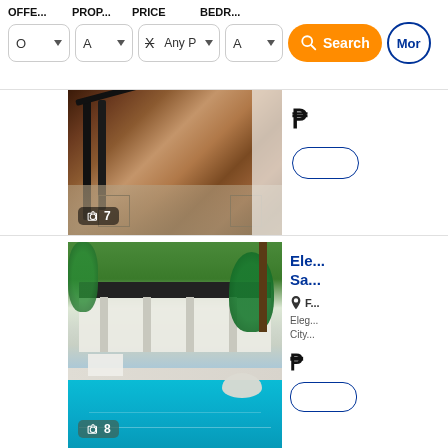OFFE... PROP... PRICE BEDR...
[Figure (screenshot): Search filter bar with dropdowns for Offer type, Property type, Price (Any P with X clear button), Bedrooms, an orange Search button, and a More button]
[Figure (photo): Interior photo showing a staircase with dark wood railings and tiled floor, with a camera icon and '7' photo count badge]
[Figure (photo): Exterior photo of an elegant building with a swimming pool in the foreground, trees and green awning, with a camera icon and '8' photo count badge]
Ele... Sa...
F...
Eleg... City...